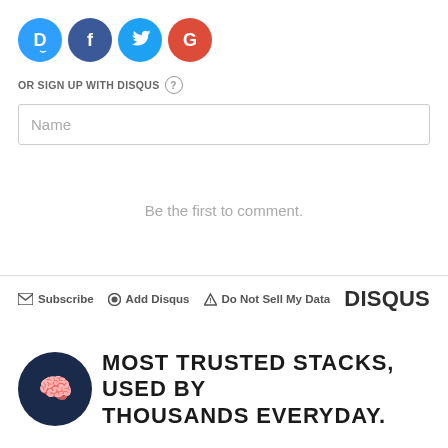[Figure (logo): Four social login icons: Disqus (blue D), Facebook (dark blue f), Twitter (light blue bird), Google (red G)]
OR SIGN UP WITH DISQUS ?
Name
Be the first to comment.
Subscribe   Add Disqus   Do Not Sell My Data   DISQUS
[Figure (logo): Dark navy brain logo icon (circular)]
MOST TRUSTED STACKS, USED BY THOUSANDS EVERYDAY.